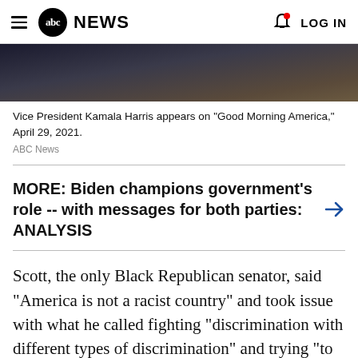abc NEWS  LOG IN
[Figure (photo): Partial photo showing a person in a dark suit, cropped, dark background]
Vice President Kamala Harris appears on "Good Morning America," April 29, 2021.
ABC News
MORE: Biden champions government's role -- with messages for both parties: ANALYSIS
Scott, the only Black Republican senator, said "America is not a racist country" and took issue with what he called fighting "discrimination with different types of discrimination" and trying "to use our painful